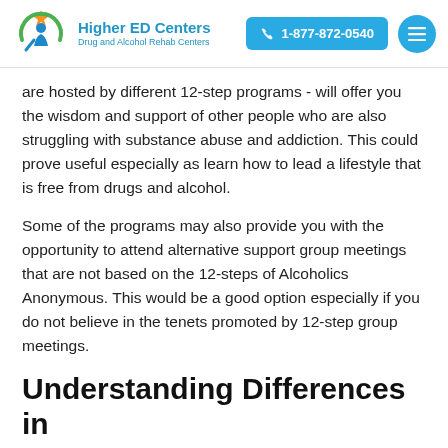Higher ED Centers | Drug and Alcohol Rehab Centers | 1-877-872-0540
are hosted by different 12-step programs - will offer you the wisdom and support of other people who are also struggling with substance abuse and addiction. This could prove useful especially as learn how to lead a lifestyle that is free from drugs and alcohol.
Some of the programs may also provide you with the opportunity to attend alternative support group meetings that are not based on the 12-steps of Alcoholics Anonymous. This would be a good option especially if you do not believe in the tenets promoted by 12-step group meetings.
Understanding Differences in Treatment